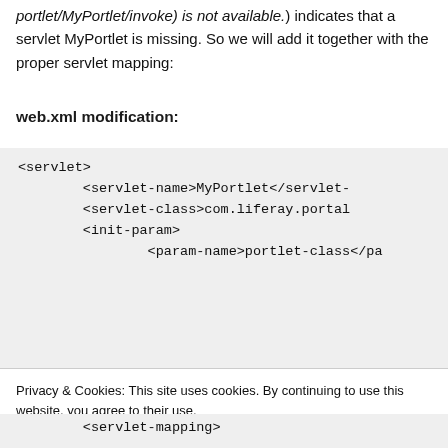portlet/MyPortlet/invoke) is not available.) indicates that a servlet MyPortlet is missing. So we will add it together with the proper servlet mapping:
web.xml modification:
<servlet>
        <servlet-name>MyPortlet</servlet-name>
        <servlet-class>com.liferay.portal...
        <init-param>
                <param-name>portlet-class</pa...
Privacy & Cookies: This site uses cookies. By continuing to use this website, you agree to their use.
To find out more, including how to control cookies, see here: Cookie Policy
<servlet-mapping>